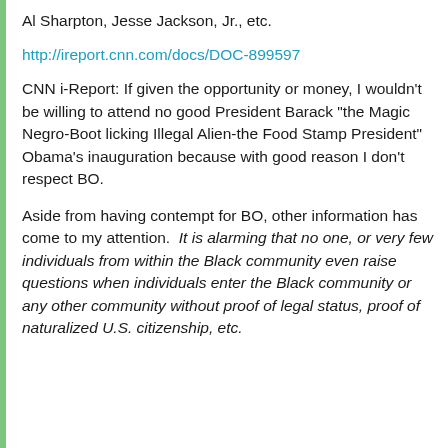Al Sharpton, Jesse Jackson, Jr., etc.
http://ireport.cnn.com/docs/DOC-899597
CNN i-Report: If given the opportunity or money, I wouldn't be willing to attend no good President Barack "the Magic Negro-Boot licking Illegal Alien-the Food Stamp President" Obama's inauguration because with good reason I don't respect BO.
Aside from having contempt for BO, other information has come to my attention. It is alarming that no one, or very few individuals from within the Black community even raise questions when individuals enter the Black community or any other community without proof of legal status, proof of naturalized U.S. citizenship, etc.